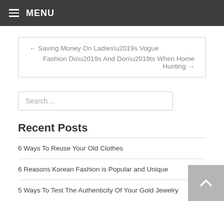MENU
← Saving Money On Ladies’s Vogue
Fashion Do’s And Don’ts When Home Hunting →
Search ...
Recent Posts
6 Ways To Reuse Your Old Clothes
6 Reasons Korean Fashion is Popular and Unique
5 Ways To Test The Authenticity Of Your Gold Jewelry